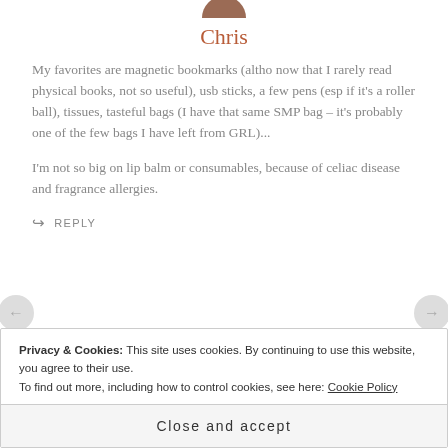[Figure (photo): Partial profile photo of Chris at top of page]
Chris
My favorites are magnetic bookmarks (altho now that I rarely read physical books, not so useful), usb sticks, a few pens (esp if it's a roller ball), tissues, tasteful bags (I have that same SMP bag – it's probably one of the few bags I have left from GRL)...
I'm not so big on lip balm or consumables, because of celiac disease and fragrance allergies.
↪ REPLY
Privacy & Cookies: This site uses cookies. By continuing to use this website, you agree to their use.
To find out more, including how to control cookies, see here: Cookie Policy
Close and accept